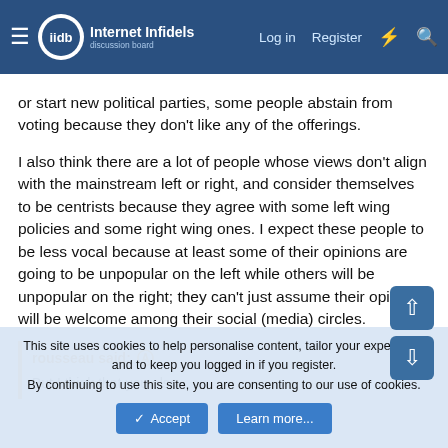Internet Infidels — Log in | Register
or start new political parties, some people abstain from voting because they don't like any of the offerings.
I also think there are a lot of people whose views don't align with the mainstream left or right, and consider themselves to be centrists because they agree with some left wing policies and some right wing ones. I expect these people to be less vocal because at least some of their opinions are going to be unpopular on the left while others will be unpopular on the right; they can't just assume their opinions will be welcome among their social (media) circles.
rousseau said:
This site uses cookies to help personalise content, tailor your experience and to keep you logged in if you register.
By continuing to use this site, you are consenting to our use of cookies.